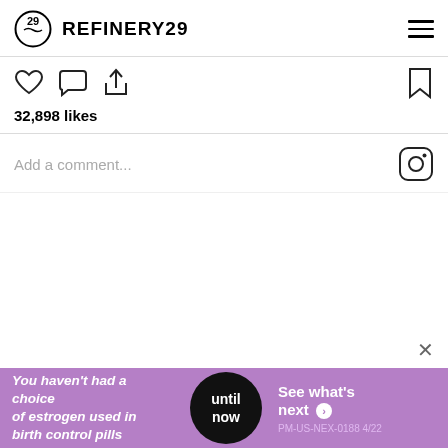REFINERY29
32,898 likes
Add a comment...
[Figure (screenshot): Instagram post action icons: heart (like), speech bubble (comment), share arrow, and bookmark; plus Instagram camera logo icon]
[Figure (infographic): Advertisement banner: purple background with text 'You haven't had a choice of estrogen used in birth control pills', black circle with 'until now', and 'See what's next' with arrow, PM-US-NEX-0188 4/22]